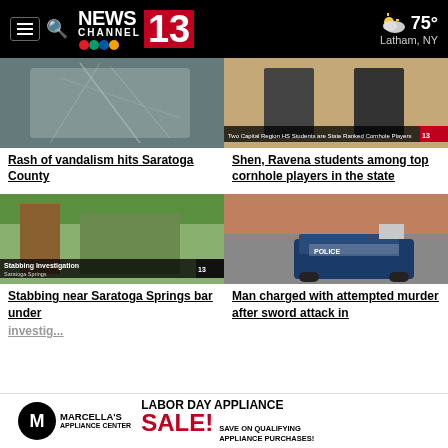News Channel 13 — 75° Latham, NY
[Figure (screenshot): Thumbnail of shattered car windshield — vandalism story image]
Rash of vandalism hits Saratoga County
[Figure (screenshot): Thumbnail of two students playing cornhole — News 13 graphic overlay reading 'Two Capital Region HS Students are State Ranked Cornhole Players']
Shen, Ravena students among top cornhole players in the state
[Figure (screenshot): Thumbnail of street scene with graphic overlay reading 'Stabbing Investigation Saratoga Springs' with News 13 bug]
Stabbing near Saratoga Springs bar under investigation
[Figure (screenshot): Thumbnail of police vehicle parked in front of a red brick building]
Man charged with attempted murder after sword attack in
[Figure (screenshot): Advertisement banner for Marcella's Appliance Center — Labor Day Appliance Sale! Save on qualifying appliance purchases!]